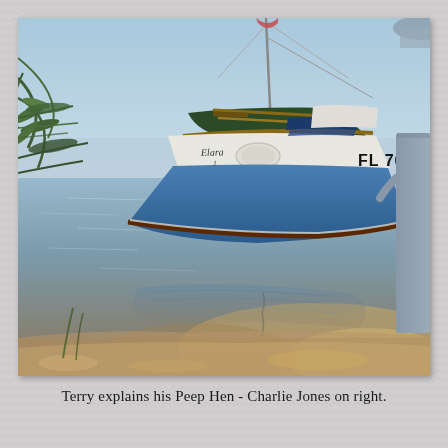[Figure (photo): A blue and white sailboat with registration number FL 761 resting near a sandy shoreline at the water's edge. Palm fronds visible on the left side. A person in gray clothing stands at the right edge of the frame. The water is shallow and reflects the boat, with sandy/muddy bottom visible. Wooden oars and equipment visible inside the boat.]
Terry explains his Peep Hen - Charlie Jones on right.